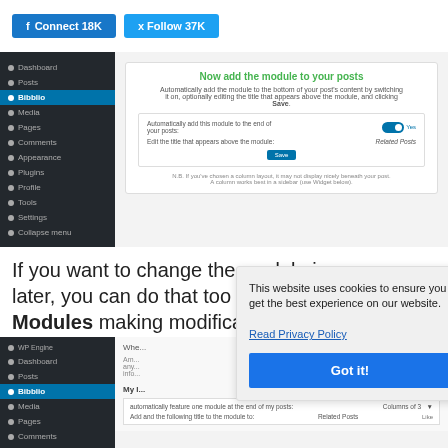[Figure (screenshot): Social media follow buttons: Facebook Connect 18K and Twitter Follow 37K]
[Figure (screenshot): WordPress admin screenshot showing Bibblio module setup with 'Now add the module to your posts' dialog]
If you want to change the module in any way later, you can do that too by visiting Bibblio > Modules making modificati...
[Figure (screenshot): WordPress admin screenshot showing Bibblio module settings page]
This website uses cookies to ensure you get the best experience on our website. Read Privacy Policy
Got it!